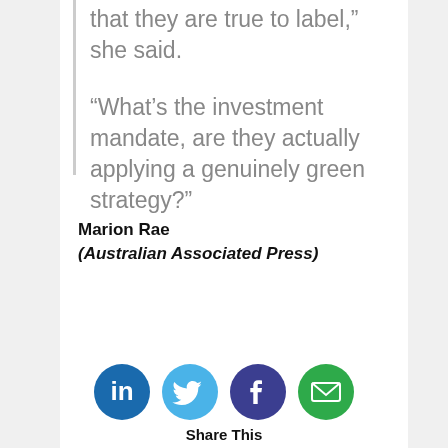that they are true to label,” she said.
“What’s the investment mandate, are they actually applying a genuinely green strategy?”
Marion Rae
(Australian Associated Press)
[Figure (other): PRINT ME button]
[Figure (other): Social share icons: LinkedIn, Twitter, Facebook, Email. Share This label. Like This with heart icon and count 0.]